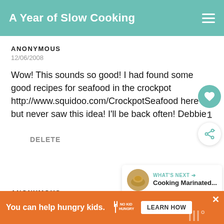A Year of Slow Cooking
ANONYMOUS
12/06/2008
Wow! This sounds so good! I had found some good recipes for seafood in the crockpot http://www.squidoo.com/CrockpotSeafood here but never saw this idea! I'll be back often! Debbie
DELETE
[Figure (infographic): Heart/like button (teal circle with heart icon), like count of 1, and share button (white circle with share icon)]
[Figure (infographic): What's Next widget with thumbnail image of food, label 'WHAT'S NEXT' with arrow, and title 'Cooking Marinated...']
ANONYMOUS
2/12/2009
[Figure (infographic): Ad banner: 'You can help hungry kids.' with No Kid Hungry logo and LEARN HOW button]